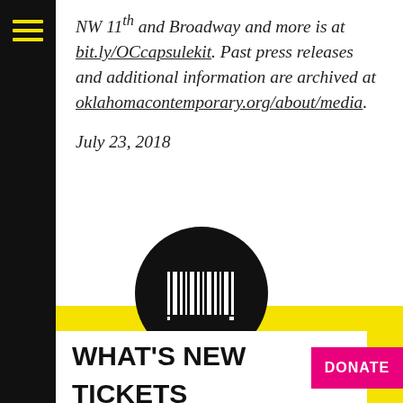NW 11th and Broadway and more is at bit.ly/OCcapsulekit. Past press releases and additional information are archived at oklahomacontemporary.org/about/media.
July 23, 2018
[Figure (logo): Black circle with white vertical barcode-like stripes logo]
WHAT'S NEW
TICKETS